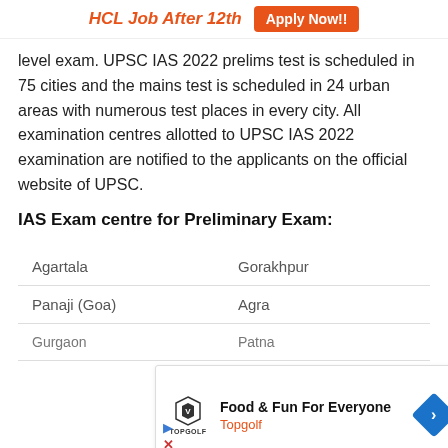HCL Job After 12th  Apply Now!!
level exam. UPSC IAS 2022 prelims test is scheduled in 75 cities and the mains test is scheduled in 24 urban areas with numerous test places in every city. All examination centres allotted to UPSC IAS 2022 examination are notified to the applicants on the official website of UPSC.
IAS Exam centre for Preliminary Exam:
| Agartala | Gorakhpur |
| Panaji (Goa) | Agra |
| Gurgaon | Patna |
[Figure (infographic): Advertisement banner for Topgolf: 'Food & Fun For Everyone' with Topgolf logo, navigation arrow icon, and close/play icons]